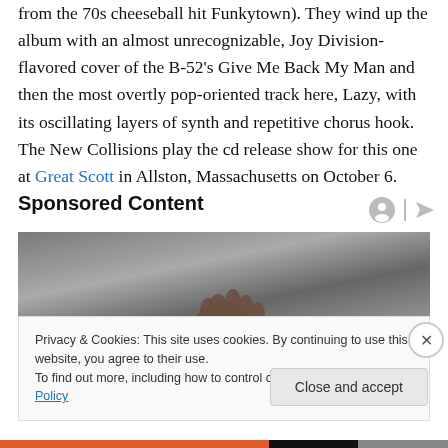from the 70s cheeseball hit Funkytown). They wind up the album with an almost unrecognizable, Joy Division-flavored cover of the B-52's Give Me Back My Man and then the most overtly pop-oriented track here, Lazy, with its oscillating layers of synth and repetitive chorus hook. The New Collisions play the cd release show for this one at Great Scott in Allston, Massachusetts on October 6.
Sponsored Content
[Figure (photo): Partially visible promotional photo showing a hand/figure against a dark gray background]
Privacy & Cookies: This site uses cookies. By continuing to use this website, you agree to their use.
To find out more, including how to control cookies, see here: Cookie Policy
Close and accept